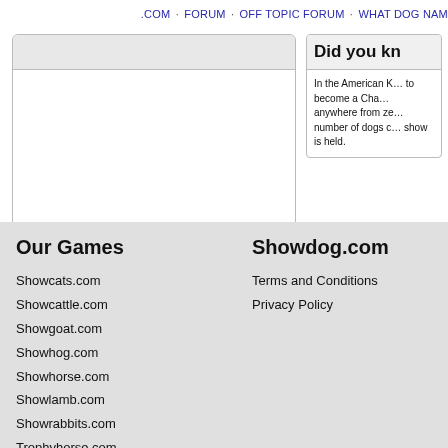.COM · FORUM · OFF TOPIC FORUM · WHAT DOG NAM…
[Figure (screenshot): Search box with gray input area on top and white results area below]
Did you kn…
In the American K… to become a Cha… anywhere from ze… number of dogs c… show is held.
Our Games
Showcats.com
Showcattle.com
Showgoat.com
Showhog.com
Showhorse.com
Showlamb.com
Showrabbits.com
Trophyhorse.com
Showdog.com
Terms and Conditions
Privacy Policy